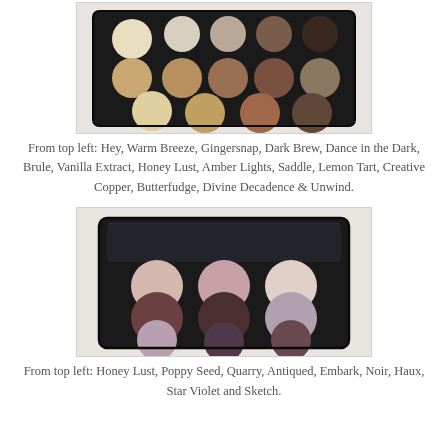[Figure (photo): A large eyeshadow palette with 15 pans arranged in 3 rows on a marble surface, showing neutral and warm toned shades.]
From top left: Hey, Warm Breeze, Gingersnap, Dark Brew, Dance in the Dark, Brule, Vanilla Extract, Honey Lust, Amber Lights, Saddle, Lemon Tart, Creative Copper, Butterfudge, Divine Decadence & Unwind.
[Figure (photo): A smaller 9-pan eyeshadow palette with mauve, purple, and neutral tones arranged in a 3x3 grid on a marble surface.]
From top left: Honey Lust, Poppy Seed, Quarry, Antiqued, Embark, Noir, Haux, Star Violet and Sketch.